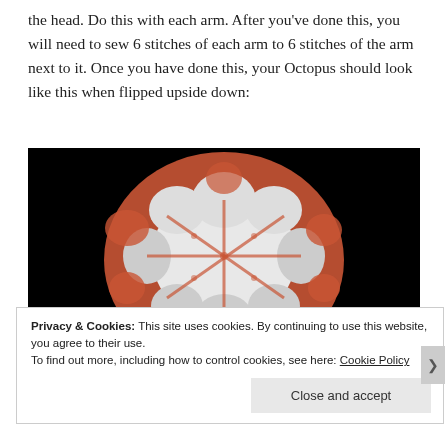the head. Do this with each arm. After you've done this, you will need to sew 6 stitches of each arm to 6 stitches of the arm next to it. Once you have done this, your Octopus should look like this when flipped upside down:
[Figure (photo): A crocheted octopus viewed from the bottom/upside-down, showing a circular arrangement of arms in salmon/coral color with white filling between them, against a black background.]
Privacy & Cookies: This site uses cookies. By continuing to use this website, you agree to their use.
To find out more, including how to control cookies, see here: Cookie Policy